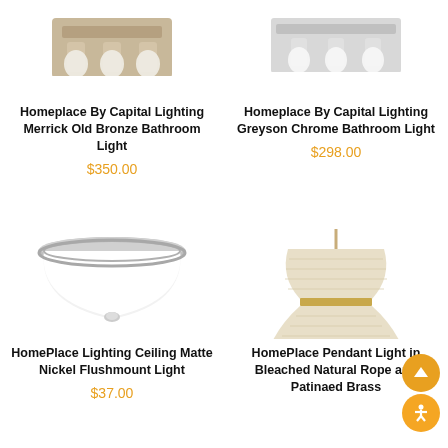[Figure (photo): Homeplace By Capital Lighting Merrick Old Bronze Bathroom Light product image (partial, cropped at top)]
Homeplace By Capital Lighting Merrick Old Bronze Bathroom Light
$350.00
[Figure (photo): Homeplace By Capital Lighting Greyson Chrome Bathroom Light product image (partial, cropped at top)]
Homeplace By Capital Lighting Greyson Chrome Bathroom Light
$298.00
[Figure (photo): HomePlace Lighting Ceiling Matte Nickel Flushmount Light - circular flush mount ceiling light with white dome globe and brushed nickel trim]
HomePlace Lighting Ceiling Matte Nickel Flushmount Light
$37.00
[Figure (photo): HomePlace Pendant Light in Bleached Natural Rope and Patinaed Brass - hourglass shaped rope shade with gold brass band]
HomePlace Pendant Light in Bleached Natural Rope and Patinaed Brass